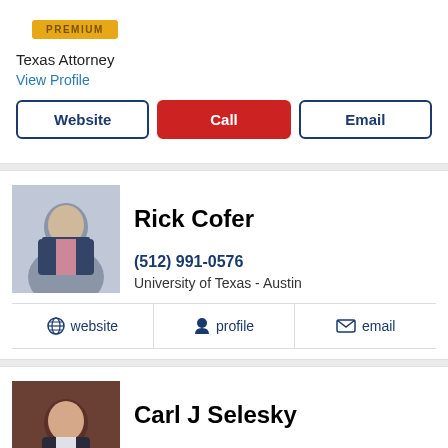[Figure (logo): PREMIUM badge in gold/amber color]
Texas Attorney
View Profile
Website | Call | Email (buttons)
[Figure (photo): Professional headshot of Rick Cofer wearing suit and glasses]
Rick Cofer
(512) 991-0576
University of Texas - Austin
website | profile | email
[Figure (photo): Professional headshot of Carl J Selesky in dark background]
Carl J Selesky
(512) 535-4685
South Texas College of Law
website | profile | email